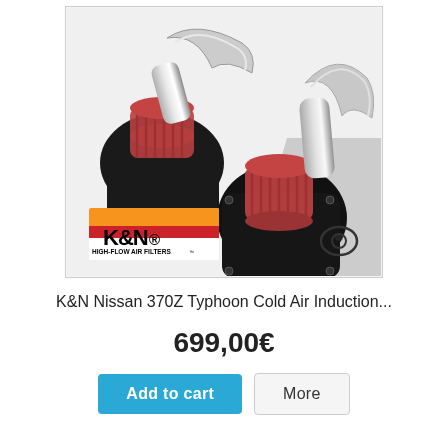[Figure (photo): K&N Nissan 370Z Typhoon Cold Air Induction kit product photo showing two air filter assemblies with polished chrome intake pipes and red/black cone filters, K&N High-Flow Air Filters logo visible in lower left]
K&N Nissan 370Z Typhoon Cold Air Induction...
699,00€
Add to cart
More